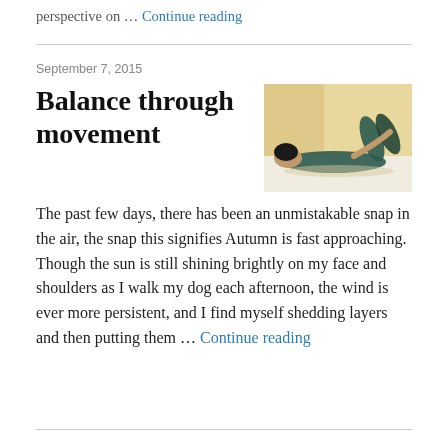perspective on … Continue reading
September 7, 2015
Balance through movement
[Figure (photo): Person lying down doing a stretching or yoga movement, wearing dark clothing on a light surface with warm background.]
The past few days, there has been an unmistakable snap in the air, the snap this signifies Autumn is fast approaching. Though the sun is still shining brightly on my face and shoulders as I walk my dog each afternoon, the wind is ever more persistent, and I find myself shedding layers and then putting them … Continue reading